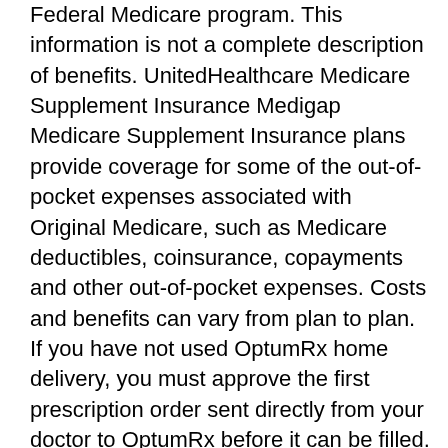Federal Medicare program. This information is not a complete description of benefits. UnitedHealthcare Medicare Supplement Insurance Medigap Medicare Supplement Insurance plans provide coverage for some of the out-of-pocket expenses associated with Original Medicare, such as Medicare deductibles, coinsurance, copayments and other out-of-pocket expenses. Costs and benefits can vary from plan to plan. If you have not used OptumRx home delivery, you must approve the first prescription order sent directly from your doctor to OptumRx before it can be filled. Select state select state Please select the state. Look up Zip Code. Plan programs and service availability can vary by plan and service area. Give Us a Call. Use the handy tools and information from UnitedHealthcare Insurance Company UnitedHealthcare below to estimate drug costs, find a provider, learn about Medicare and more. Will I have prescription drug coverage? These can include, but are not limited to: Enrollment in these plans depends on the plan's contract renewal with Medicare. You